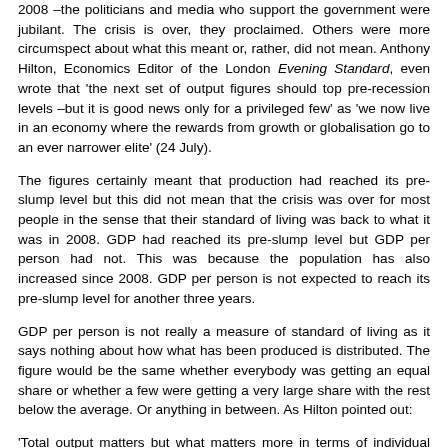2008 –the politicians and media who support the government were jubilant. The crisis is over, they proclaimed. Others were more circumspect about what this meant or, rather, did not mean. Anthony Hilton, Economics Editor of the London Evening Standard, even wrote that 'the next set of output figures should top pre-recession levels –but it is good news only for a privileged few' as 'we now live in an economy where the rewards from growth or globalisation go to an ever narrower elite' (24 July).
The figures certainly meant that production had reached its pre-slump level but this did not mean that the crisis was over for most people in the sense that their standard of living was back to what it was in 2008. GDP had reached its pre-slump level but GDP per person had not. This was because the population has also increased since 2008. GDP per person is not expected to reach its pre-slump level for another three years.
GDP per person is not really a measure of standard of living as it says nothing about how what has been produced is distributed. The figure would be the same whether everybody was getting an equal share or whether a few were getting a very large share with the rest below the average. Or anything in between. As Hilton pointed out:
'Total output matters but what matters more in terms of individual wellbeing is how the output is spread around. It